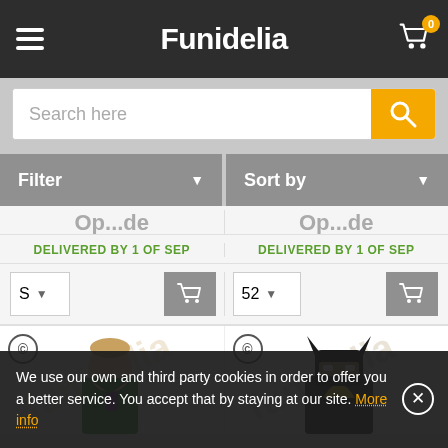Funidelia
[Figure (screenshot): Search bar with placeholder text 'Search here' and orange search button]
[Figure (screenshot): Filter and Sort by dropdown buttons]
DELIVERED BY 1 OF SEP
DELIVERED BY 1 OF SEP
[Figure (screenshot): Size selector showing 'S' with dropdown and grey add-to-cart button]
[Figure (screenshot): Size selector showing '52' with dropdown and grey add-to-cart button]
[Figure (photo): Boy in green Joker suit costume]
[Figure (photo): Lego Batman costume figure]
We use our own and third party cookies in order to offer you a better service. You accept that by staying at our site. More info